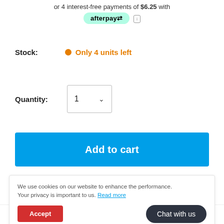or 4 interest-free payments of $6.25 with afterpay
Stock: Only 4 units left
Quantity: 1
Add to cart
We use cookies on our website to enhance the performance. Your privacy is important to us. Read more
Accept
Chat with us
Manuals